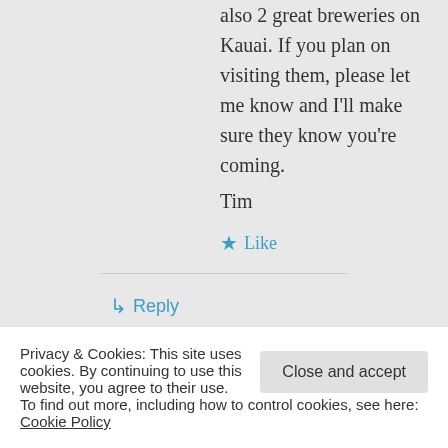also 2 great breweries on Kauai. If you plan on visiting them, please let me know and I'll make sure they know you're coming.
Tim
Like
Reply
Terry M on July 11, 2015 at 5:52 pm
heads up.
Privacy & Cookies: This site uses cookies. By continuing to use this website, you agree to their use. To find out more, including how to control cookies, see here: Cookie Policy